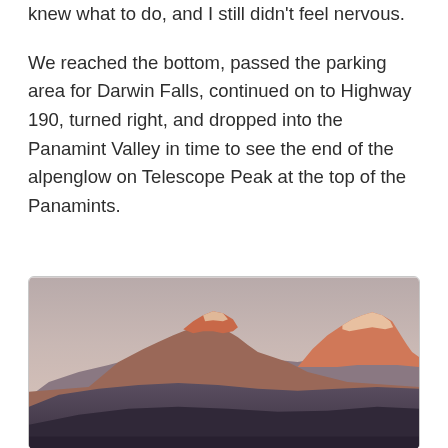knew what to do, and I still didn't feel nervous.
We reached the bottom, passed the parking area for Darwin Falls, continued on to Highway 190, turned right, and dropped into the Panamint Valley in time to see the end of the alpenglow on Telescope Peak at the top of the Panamints.
[Figure (photo): Landscape photograph of snow-capped mountains (Telescope Peak and the Panamints) at dusk with alpenglow — pink-orange light on the peaks, dark silhouetted foothills in the foreground, and a soft gradient sky from warm pink-gray at top to pale blue.]